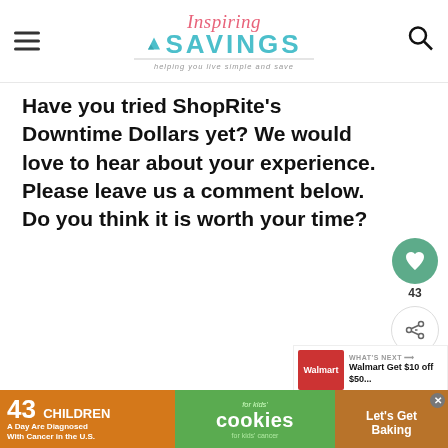Inspiring SAVINGS — helping you live simple and save
Have you tried ShopRite's Downtime Dollars yet? We would love to hear about your experience. Please leave us a comment below. Do you think it is worth your time?
[Figure (infographic): Social share sidebar with heart button (43 likes) and share button]
[Figure (infographic): What's Next panel showing Walmart Get $10 off $50... thumbnail]
Other AMAZING Savings Articles
[Figure (infographic): Ad banner: 43 Children A Day Are Diagnosed With Cancer in the U.S. — cookies for kids cancer — Let's Get Baking]